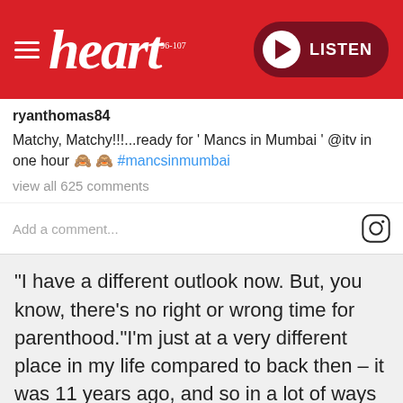heart 96-107 | LISTEN
ryanthomas84
Matchy, Matchy!!!...ready for ' Mancs in Mumbai ' @itv in one hour 🙈🙈 #mancsinmumbai
view all 625 comments
Add a comment...
"I have a different outlook now. But, you know, there's no right or wrong time for parenthood."I'm just at a very different place in my life compared to back then – it was 11 years ago, and so in a lot of ways this feels like the first time all over again.
"I'm not working at the moment so I'm living and breathing what happens in our house and it's just incredible what a